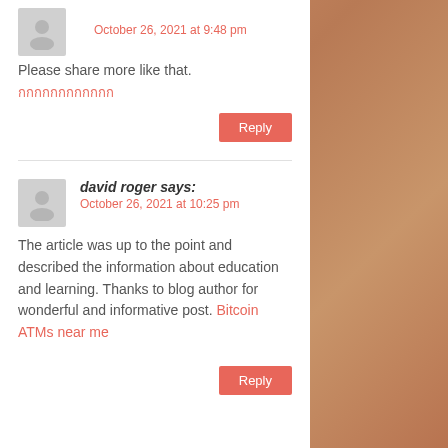October 26, 2021 at 9:48 pm
Please share more like that.
[Thai text link]
Reply
david roger says:
October 26, 2021 at 10:25 pm
The article was up to the point and described the information about education and learning. Thanks to blog author for wonderful and informative post. Bitcoin ATMs near me
Reply